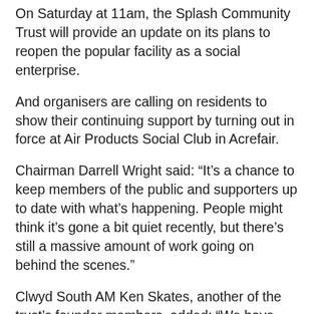On Saturday at 11am, the Splash Community Trust will provide an update on its plans to reopen the popular facility as a social enterprise.
And organisers are calling on residents to show their continuing support by turning out in force at Air Products Social Club in Acrefair.
Chairman Darrell Wright said: “It’s a chance to keep members of the public and supporters up to date with what’s happening. People might think it’s gone a bit quiet recently, but there’s still a massive amount of work going on behind the scenes.”
Clwyd South AM Ken Skates, another of the trust’s founder members, added: “We have enjoyed fantastic support from the public so far, and I would ask you to stick with us while we continue with our efforts to save Plas Madoc.
“It can’t be done overnight and we still need to raise a huge amount of money, but as long as the will, the enthusiasm and the support remain then we have every chance of achieving the outcome we have in mind…”